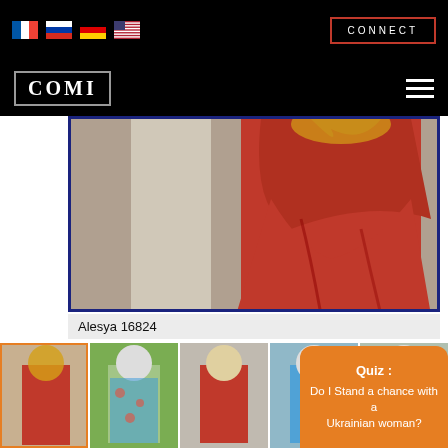CONNECT
[Figure (logo): COMI logo in bordered box on black background with hamburger menu icon]
Ukraine
[Figure (photo): Woman in red dress, blonde hair, close-up torso shot]
Alesya 16824
[Figure (photo): Row of thumbnail photos of blonde woman in various outfits]
Quiz : Do I Stand a chance with a Ukrainian woman?